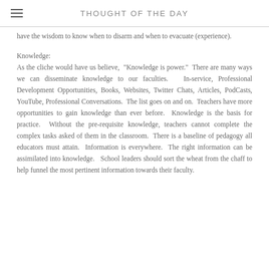THOUGHT OF THE DAY
have the wisdom to know when to disarm and when to evacuate (experience).
Knowledge:
As the cliche would have us believe, "Knowledge is power." There are many ways we can disseminate knowledge to our faculties. In-service, Professional Development Opportunities, Books, Websites, Twitter Chats, Articles, PodCasts, YouTube, Professional Conversations. The list goes on and on. Teachers have more opportunities to gain knowledge than ever before. Knowledge is the basis for practice. Without the pre-requisite knowledge, teachers cannot complete the complex tasks asked of them in the classroom. There is a baseline of pedagogy all educators must attain. Information is everywhere. The right information can be assimilated into knowledge. School leaders should sort the wheat from the chaff to help funnel the most pertinent information towards their faculty.